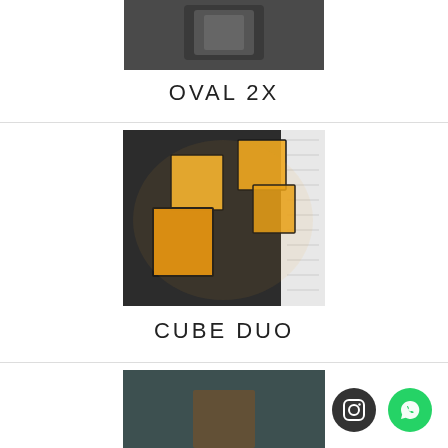[Figure (photo): Top portion of a product photo, cropped — appears to be a dark-toned light fixture against dark background]
OVAL 2X
[Figure (photo): Wall-mounted light fixtures called Cube Duo — amber/gold glowing cube-shaped shades arranged in a staggered pattern on a dark wall]
CUBE DUO
[Figure (photo): Partial bottom image showing another lighting product against a dark teal background]